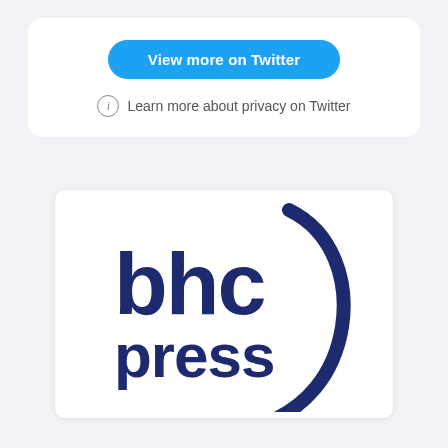View more on Twitter
Learn more about privacy on Twitter
[Figure (logo): BHC Press logo: bold lowercase letters 'bhc' over 'press' in dark navy blue, with a large crescent/arc swoosh shape on the right side, white background with rounded border]